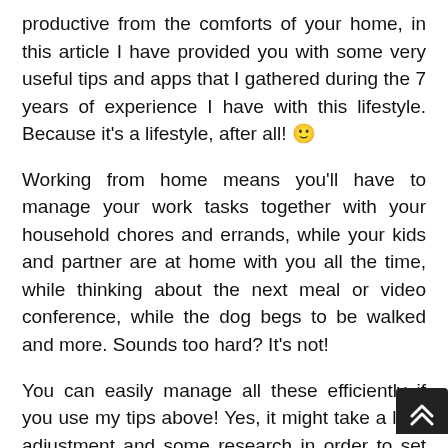productive from the comforts of your home, in this article I have provided you with some very useful tips and apps that I gathered during the 7 years of experience I have with this lifestyle. Because it's a lifestyle, after all! 🙂
Working from home means you'll have to manage your work tasks together with your household chores and errands, while your kids and partner are at home with you all the time, while thinking about the next meal or video conference, while the dog begs to be walked and more. Sounds too hard? It's not!
You can easily manage all these efficiently if you use my tips above! Yes, it might take a little adjustment and some research in order to set up your work space and find the right tools that will help you along the way, but I hope I just made things a bit easier for you!
I wish you the best of luck adjusting to working from